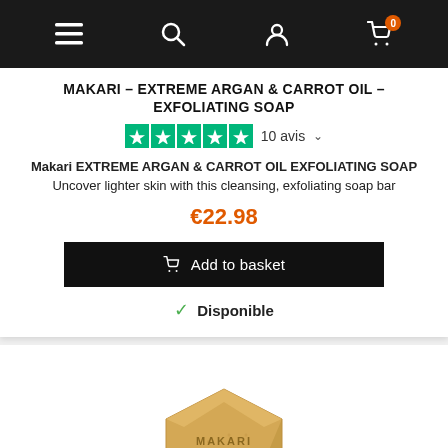Navigation bar with menu, search, account, and cart (0 items)
MAKARI – EXTREME ARGAN & CARROT OIL – EXFOLIATING SOAP
10 avis
Makari EXTREME ARGAN & CARROT OIL EXFOLIATING SOAP Uncover lighter skin with this cleansing, exfoliating soap bar
€22.98
Add to basket
Disponible
[Figure (photo): Hexagonal amber-colored Makari soap bar sitting on top of its white and dark packaging box with Makari branding]